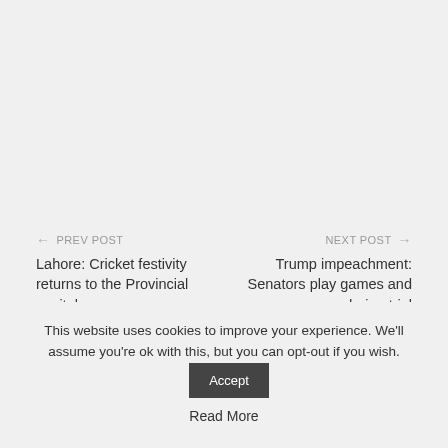← PREV POST
Lahore: Cricket festivity returns to the Provincial capital
NEXT POST →
Trump impeachment: Senators play games and nap during trial
This website uses cookies to improve your experience. We'll assume you're ok with this, but you can opt-out if you wish.
Accept
Read More